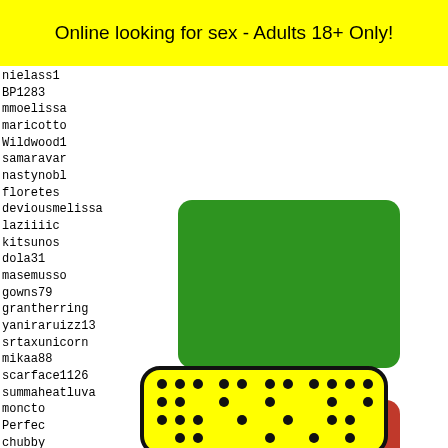Online looking for sex - Adults 18+ Only!
nielass1
BP1283
mmoelissa
maricotto
Wildwood1
samaravar
nastynobl
floretes
deviousmelissa
laziiiic
kitsunos
dola31
masemusso
gowns79
grantherring
yaniraruizz13
srtaxunicorn
mikaa88
scarface1126
summaheatluva
moncto
Perfec
chubby
maxum1
wisdom
Myster
[Figure (other): Green rectangle button]
[Figure (other): Red EXIT button]
6958 6959 6960 6961 6962
[Figure (other): Yellow Snapchat-style QR code image with black dots and a figure/ghost icon]